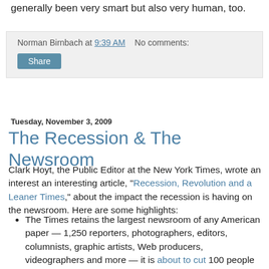generally been very smart but also very human, too.
Norman Birnbach at 9:39 AM   No comments:
Share
Tuesday, November 3, 2009
The Recession & The Newsroom
Clark Hoyt, the Public Editor at the New York Times, wrote an interest an interesting article, "Recession, Revolution and a Leaner Times," about the impact the recession is having on the newsroom. Here are some highlights:
The Times retains the largest newsroom of any American paper — 1,250 reporters, photographers, editors, columnists, graphic artists, Web producers, videographers and more — it is about to cut 100 people through voluntary buyouts and, if needed, layoffs that would happen in the weeks before Christmas.